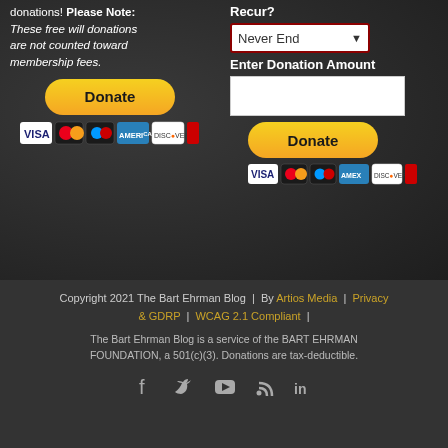donations! Please Note: These free will donations are not counted toward membership fees.
[Figure (screenshot): Donate button (PayPal yellow) with payment icons (VISA, Mastercard, etc.) below it — left column]
Recur?
[Figure (screenshot): Never End dropdown selector with dark red border]
Enter Donation Amount
[Figure (screenshot): White text input box for donation amount]
[Figure (screenshot): Donate button (PayPal yellow) with payment icons below — right column]
Copyright 2021 The Bart Ehrman Blog | By Artios Media | Privacy & GDRP | WCAG 2.1 Compliant | The Bart Ehrman Blog is a service of the BART EHRMAN FOUNDATION, a 501(c)(3). Donations are tax-deductible.
[Figure (infographic): Social media icons: Facebook, Twitter, YouTube, RSS, LinkedIn]